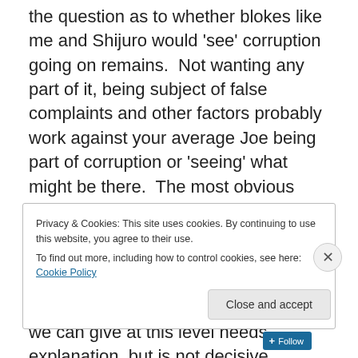the question as to whether blokes like me and Shijuro would 'see' corruption going on remains.  Not wanting any part of it, being subject of false complaints and other factors probably work against your average Joe being part of corruption or 'seeing' what might be there.  The most obvious way to find corruption is probably to be invited into it.  If one accepts, then silence or denial follows – and we all know the dangers of trying to blow the stuff out of the water.  The evidence we can give at this level needs explanation, but is not decisive.
Privacy & Cookies: This site uses cookies. By continuing to use this website, you agree to their use.
To find out more, including how to control cookies, see here: Cookie Policy